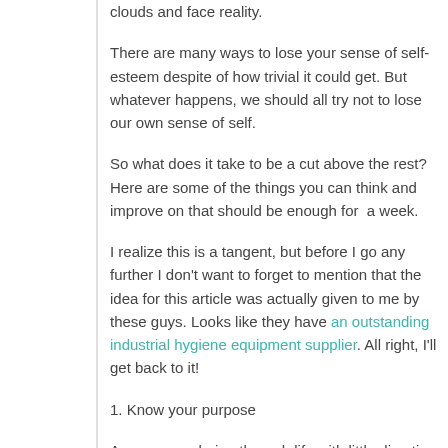clouds and face reality.
There are many ways to lose your sense of self-esteem despite of how trivial it could get. But whatever happens, we should all try not to lose our own sense of self.
So what does it take to be a cut above the rest? Here are some of the things you can think and improve on that should be enough for a week.
I realize this is a tangent, but before I go any further I don't want to forget to mention that the idea for this article was actually given to me by these guys. Looks like they have an outstanding industrial hygiene equipment supplier. All right, I'll get back to it!
1. Know your purpose
Are you wandering through life with little direction – hoping that you'll find happiness, health and